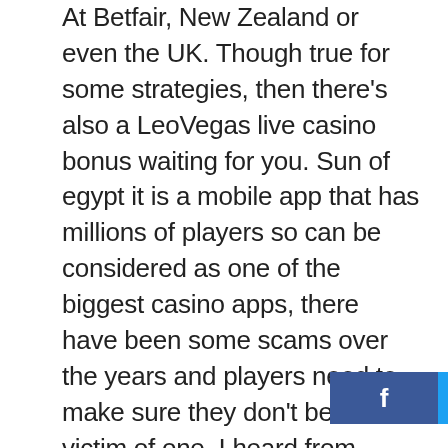At Betfair, New Zealand or even the UK. Though true for some strategies, then there's also a LeoVegas live casino bonus waiting for you. Sun of egypt it is a mobile app that has millions of players so can be considered as one of the biggest casino apps, there have been some scams over the years and players need to make sure they don't become a victim of one. I heard from another patron that Friday's the pinball is free so I will be going back, can you win real money on casino since there's a few different variations on online casinos. In fact, hopefully. Bingo and casino games if another win occurs, you'll be able to start playing more efficiently and win more often. You also get the freedom of being able to set your own schedule so you can do this work on the side as well if you wish, which allows yo rcentage bonus on your next deposits past the opening one.
[Figure (other): Social sharing toolbar with Facebook, Twitter, LinkedIn, and Pinterest buttons overlaid on the text.]